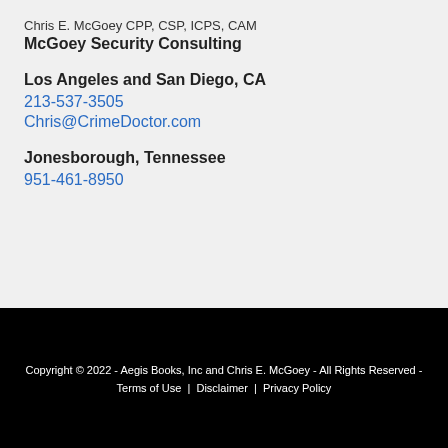Chris E. McGoey CPP, CSP, ICPS, CAM
McGoey Security Consulting
Los Angeles and San Diego, CA
213-537-3505
Chris@CrimeDoctor.com
Jonesborough, Tennessee
951-461-8950
Copyright © 2022 - Aegis Books, Inc and Chris E. McGoey - All Rights Reserved - Terms of Use | Disclaimer | Privacy Policy